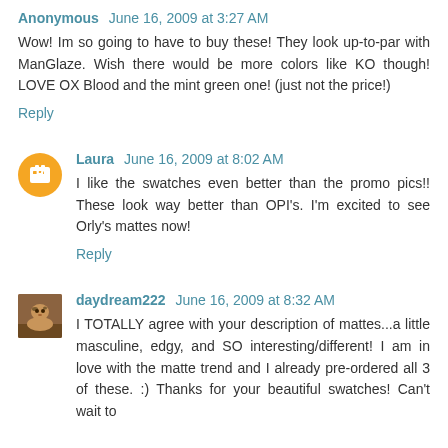Anonymous June 16, 2009 at 3:27 AM
Wow! Im so going to have to buy these! They look up-to-par with ManGlaze. Wish there would be more colors like KO though! LOVE OX Blood and the mint green one! (just not the price!)
Reply
Laura June 16, 2009 at 8:02 AM
I like the swatches even better than the promo pics!! These look way better than OPI's. I'm excited to see Orly's mattes now!
Reply
daydream222 June 16, 2009 at 8:32 AM
I TOTALLY agree with your description of mattes...a little masculine, edgy, and SO interesting/different! I am in love with the matte trend and I already pre-ordered all 3 of these. :) Thanks for your beautiful swatches! Can't wait to